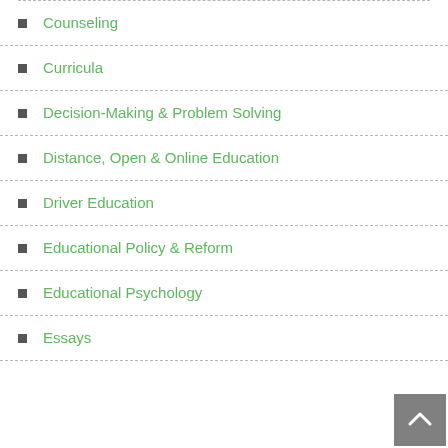Counseling
Curricula
Decision-Making & Problem Solving
Distance, Open & Online Education
Driver Education
Educational Policy & Reform
Educational Psychology
Essays